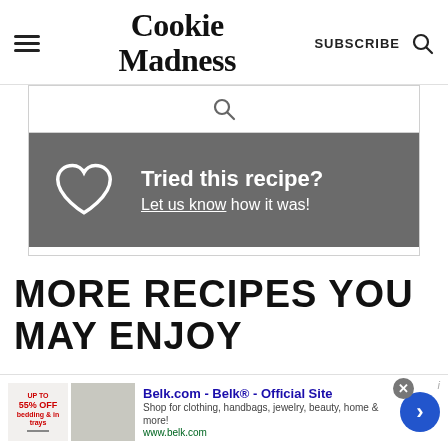Cookie Madness | SUBSCRIBE
[Figure (other): Search icon in search bar area]
[Figure (infographic): Dark grey box with heart outline icon and text: Tried this recipe? Let us know how it was!]
MORE RECIPES YOU MAY ENJOY
[Figure (other): Advertisement banner: Belk.com - Belk® - Official Site. Shop for clothing, handbags, jewelry, beauty, home & more! www.belk.com]